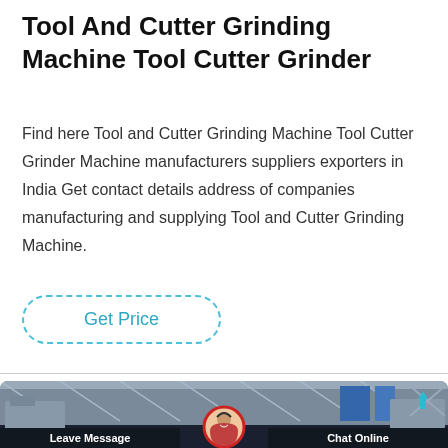Tool And Cutter Grinding Machine Tool Cutter Grinder
Find here Tool and Cutter Grinding Machine Tool Cutter Grinder Machine manufacturers suppliers exporters in India Get contact details address of companies manufacturing and supplying Tool and Cutter Grinding Machine.
Get Price
[Figure (photo): Factory/industrial hall interior with machinery, with a customer service representative avatar in the center, and 'Leave Message' and 'Chat Online' buttons at the bottom]